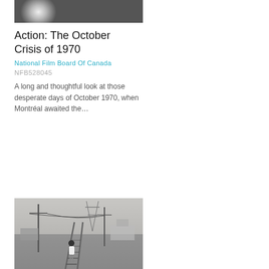[Figure (photo): Black and white photo of people, appearing to be close-up faces]
Action: The October Crisis of 1970
National Film Board Of Canada
NFB528045
A long and thoughtful look at those desperate days of October 1970, when Montréal awaited the...
[Figure (photo): Black and white photo of a person walking along railway tracks in a rural or industrial setting with telegraph poles and buildings in the background]